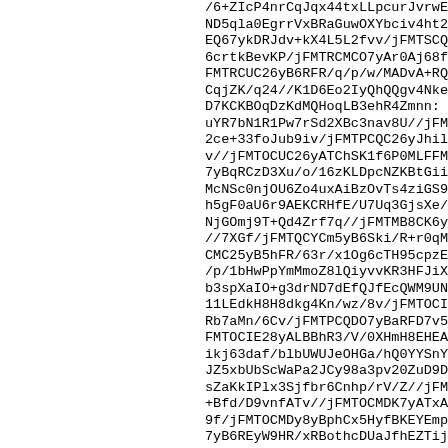/6+ZIcP4nrCqJqx44txLLpcurJvrwEqV/ix ND5qla0EgrrVxBRaGuwOXYbciv4ht26v0 EQ67ykDRJdv+kX4L5L2fvv/jFMTSCQCr 6crtkBevKP/jFMTRCMCO7yAr0Aj68f8JC FMTRCUC26yB6RFR/q/p/w/MADvA+RQ CqjZK/q24//K1D6Eo2IyQhQQgv4Nke510 D7KCKBOqDzKdMQHoqLB3ehR4Zmnn: uYR7bN1R1Pw7rSd2XBc3nav8U//jFMTF 2ce+33foJub9iv/jFMTPCQC26yJhilRVVu v//jFMTOCUC26yATChSK1f6P0MLFFMl 7yBqRCzD3Xu/o/16zKLDpcNZKBtGiiwck McNSc0njOU6Zo4uxAiBzOvTs4ziGS92e h5gF0aU6r9AEKCRHfE/U7Uq3GjsXe//jF NjGOmj9T+Qd4Zrf7q//jFMTMB8CK6yAT //7XGf/jFMTQCYCm5yB6Ski/R+r0qMA1Y CMC25yB5hFR/63r/x1Og6cTH95cpzESk /p/1bHwPpYmMmoZ8lQiyvvKR3HFJiXoz b3spXaIO+g3drND7dEfQJfEcQWM9UNF 11LEdkH8H8dkg4Kn/wz/8v/jFMTOCIE27 Rb7aMn/6Cv/jFMTPCQDO7yBaRFD7v5 FMTOCIE28yALBBhR3/V/0XHmH8EHEAl ikj63daf/blbUWUJeOHGa/hQ0YYSnYpAh JZ5xbUbScWaPa2JCy98a3pv20ZuD9Df- sZaKkIPlx3Sjfbr6Cnhp/rV/Z//jFMTRCYEy +Bfd/D9vnfATv//jFMTOCMDK7yATxASrj` 9f/jFMTOCMDy8yBphCx5HyfBKEYEmph 7yB6REyW9HR/xRBothcDUaJfhEZTijuxF zoGR9WJBECgVLo2rlundyBl65jidO8v/Q UU18HGW769aalzkBDfTdf87+vDjfUv/jFI 3jTu7cJ/fN/hV//ydf/jFMTRCUDy7yBZhFD U/8u7//jFMTPCQBq7vASTASn9nJdsKsl